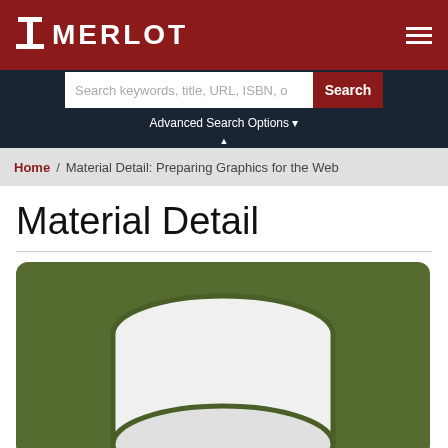MERLOT
Search keywords, title, URL, ISBN, o
Advanced Search Options
Home / Material Detail: Preparing Graphics for the Web
Material Detail
[Figure (illustration): Green rounded rectangle with a white cylinder/drum shape icon centered on it, representing a database or material item thumbnail.]